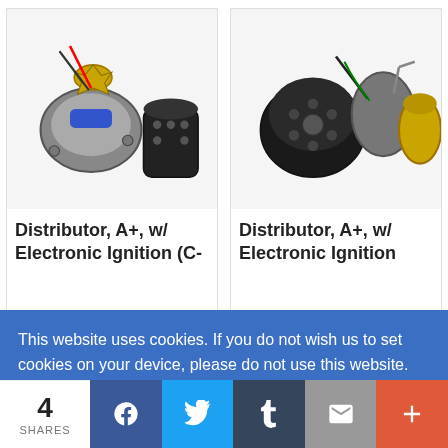[Figure (photo): Photo of distributor ignition part: distributor body with wires and cap, electronic ignition components for A+ engine (C- series)]
Distributor, A+, w/ Electronic Ignition (C-
[Figure (photo): Photo of distributor ignition part: distributor with wires and brass vacuum advance canister, electronic ignition Pickup style]
Distributor, A+, w/ Electronic Ignition Pickup
This website uses cookies. If you do not wish us to set cookies on your device, please do not use this website. Please read the Seven Enterprises' cookies policy for more information.  Learn more
Got it!
4 SHARES